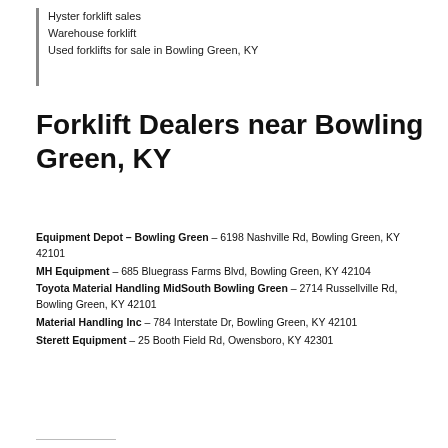Hyster forklift sales
Warehouse forklift
Used forklifts for sale in Bowling Green, KY
Forklift Dealers near Bowling Green, KY
Equipment Depot – Bowling Green – 6198 Nashville Rd, Bowling Green, KY 42101
MH Equipment – 685 Bluegrass Farms Blvd, Bowling Green, KY 42104
Toyota Material Handling MidSouth Bowling Green – 2714 Russellville Rd, Bowling Green, KY 42101
Material Handling Inc – 784 Interstate Dr, Bowling Green, KY 42101
Sterett Equipment – 25 Booth Field Rd, Owensboro, KY 42301